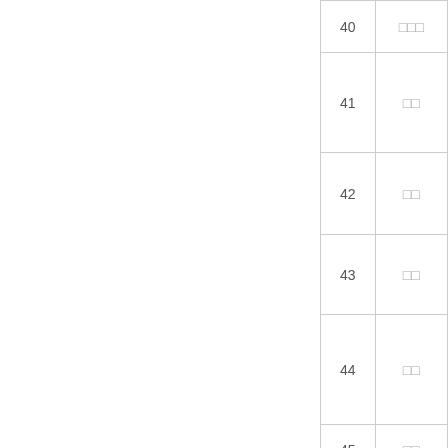|  |  |
| --- | --- |
| 40 | □□□ |
| 41 | □□ |
| 42 | □□ |
| 43 | □□ |
| 44 | □□ |
| 45 | □□ |
| 46 | □□ |